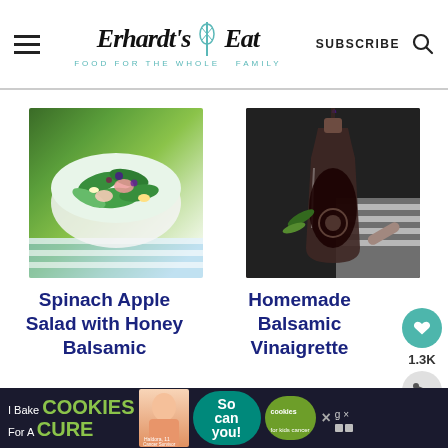Erhardt's Eat - FOOD FOR THE WHOLE FAMILY | SUBSCRIBE
[Figure (photo): Bowl of spinach apple salad with honey balsamic dressing, viewed from above, with leafy greens, apple slices, and berries]
[Figure (photo): Glass bottle/carafe of homemade balsamic vinaigrette being poured, on dark background with striped cloth]
Spinach Apple Salad with Honey Balsamic
Homemade Balsamic Vinaigrette
[Figure (photo): Advertisement banner: I Bake COOKIES For A CURE - Haldora, 11 Cancer Survivor - So can you! cookies for kids cancer]